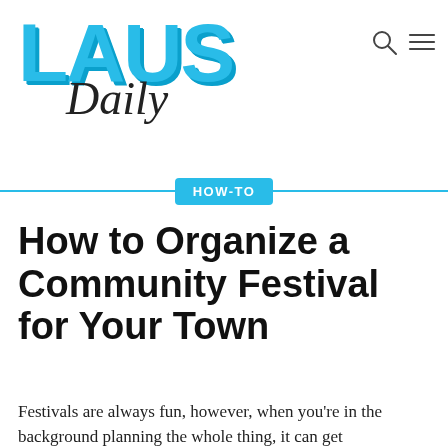[Figure (logo): LAUS Daily logo — 'LAUS' in large bold light-blue block letters with a 3D shadow effect, 'Daily' in black cursive/script below]
HOW-TO
How to Organize a Community Festival for Your Town
Festivals are always fun, however, when you're in the background planning the whole thing, it can get